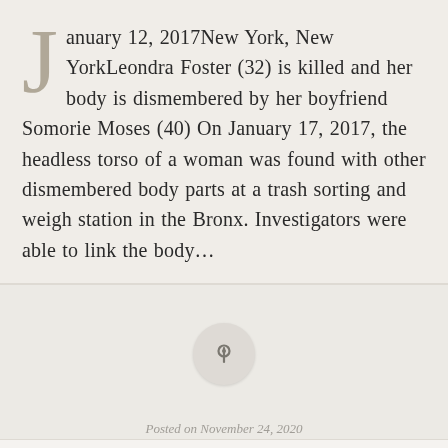January 12, 2017New York, New YorkLeondra Foster (32) is killed and her body is dismembered by her boyfriend Somorie Moses (40) On January 17, 2017, the headless torso of a woman was found with other dismembered body parts at a trash sorting and weigh station in the Bronx. Investigators were able to link the body...
[Figure (other): Pin/pushpin button icon in circular grey button]
Posted on November 24, 2020
Follow ...